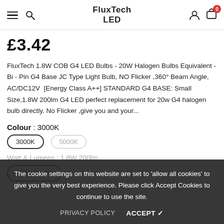FluxTech LED
£3.42
FluxTech 1.8W COB G4 LED Bulbs – 20W Halogen Bulbs Equivalent – Bi - Pin G4 Base JC Type Light Bulb, NO Flicker ,360° Beam Angle, AC/DC12V [Energy Class A++] STANDARD G4 BASE: Small Size,1.8W 200lm G4 LED perfect replacement for 20w G4 halogen bulb directly. No Flicker ,give you and your...
Colour : 3000K
3000K   5000K
Watt & Lumens : 1.8W 200lm
1.8W 200lm
The cookie settings on this website are set to 'allow all cookies' to give you the very best experience. Please click Accept Cookies to continue to use the site.
PRIVACY POLICY   ACCEPT ✓